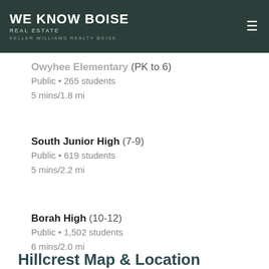WE KNOW BOISE REAL ESTATE KELLER WILLIAMS REALTY BOISE
Owyhee Elementary (PK to 6)
Public • 265 students
5 mins/1.8 mi
South Junior High (7-9)
Public • 619 students
5 mins/2.2 mi
Borah High (10-12)
Public • 1,502 students
6 mins/2.0 mi
Hillcrest Map & Location